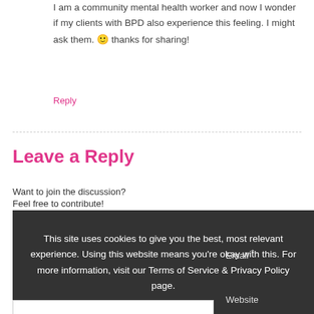I am a community mental health worker and now I wonder if my clients with BPD also experience this feeling. I might ask them. 🙂 thanks for sharing!
Reply
Leave a Reply
Want to join the discussion?
Feel free to contribute!
This site uses cookies to give you the best, most relevant experience. Using this website means you're okay with this. For more information, visit our Terms of Service & Privacy Policy page.
OK
Email *
Website